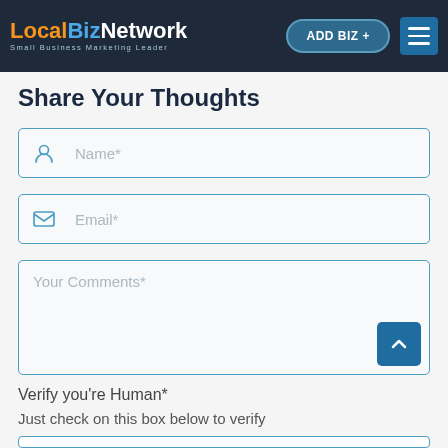LocalBizNetwork – Small Business Marketing Leader | ADD BIZ + | Menu
Share Your Thoughts
Name*
Email*
Your Comments*
Verify you're Human*
Just check on this box below to verify